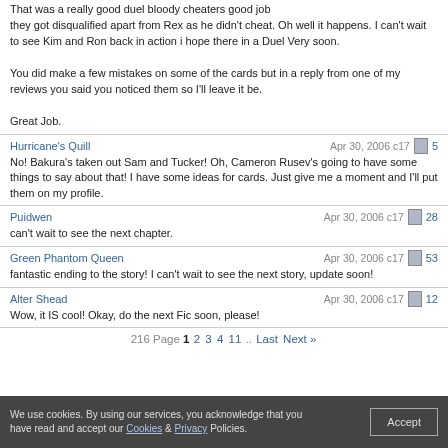That was a really good duel bloody cheaters good job they got disqualified apart from Rex as he didn't cheat. Oh well it happens. I can't wait to see Kim and Ron back in action i hope there in a Duel Very soon.

You did make a few mistakes on some of the cards but in a reply from one of my reviews you said you noticed them so I'll leave it be.

Great Job.
Hurricane's Quill | Apr 30, 2006 c17 | 5
No! Bakura's taken out Sam and Tucker! Oh, Cameron Rusev's going to have some things to say about that! I have some ideas for cards. Just give me a moment and I'll put them on my profile.
Puidwen | Apr 30, 2006 c17 | 28
can't wait to see the next chapter.
Green Phantom Queen | Apr 30, 2006 c17 | 53
fantastic ending to the story! I can't wait to see the next story, update soon!
Alter Shead | Apr 30, 2006 c17 | 12
Wow, it IS cool! Okay, do the next Fic soon, please!
216 Page 1 2 3 4 11 .. Last Next »
We use cookies. By using our services, you acknowledge that you have read and accept our Cookies & Privacy Policies.